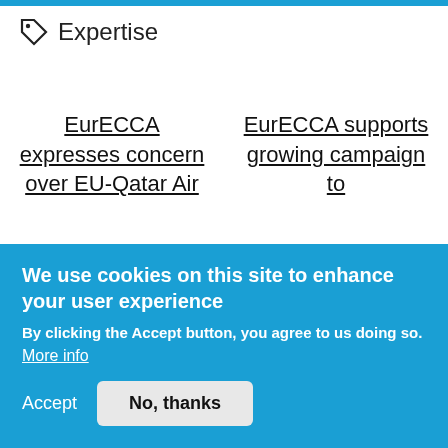Expertise
EurECCA expresses concern over EU-Qatar Air
EurECCA supports growing campaign to
We use cookies on this site to enhance your user experience
By clicking the Accept button, you agree to us doing so.
More info
Accept
No, thanks